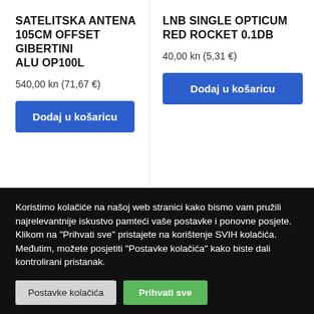SATELITSKA ANTENA 105CM OFFSET GIBERTINI ALU OP100L
540,00 kn (71,67 €)
Dodaj u košaricu
LNB SINGLE OPTICUM RED ROCKET 0.1DB
40,00 kn (5,31 €)
Dodaj u košaricu
Koristimo kolačiće na našoj web stranici kako bismo vam pružili najrelevantnije iskustvo pamteći vaše postavke i ponovne posjete. Klikom na "Prihvati sve" pristajete na korištenje SVIH kolačića. Međutim, možete posjetiti "Postavke kolačića" kako biste dali kontrolirani pristanak.
Postavke kolačića
Prihvati sve